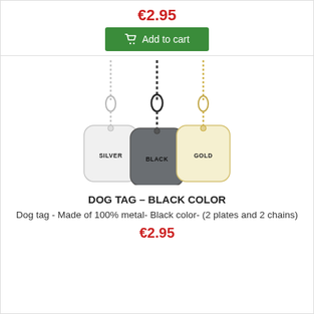€2.95
Add to cart
[Figure (photo): Three military-style dog tags on chains: a silver tag labeled SILVER on a silver ball chain, a black/grey tag labeled BLACK on a black ball chain, and a gold/cream tag labeled GOLD on a gold ball chain.]
DOG TAG – BLACK COLOR
Dog tag - Made of 100% metal- Black color- (2 plates and 2 chains)
€2.95